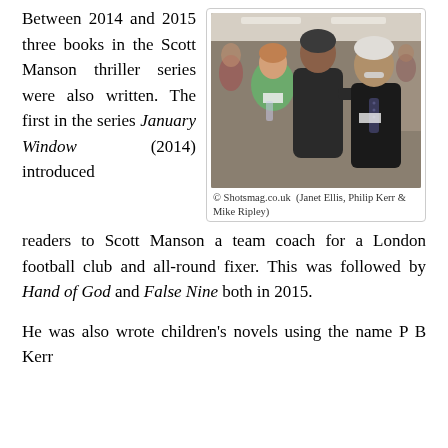Between 2014 and 2015 three books in the Scott Manson thriller series were also written. The first in the series January Window (2014) introduced readers to Scott Manson a team coach for a London football club and all-round fixer. This was followed by Hand of God and False Nine both in 2015.
[Figure (photo): Three people posing together: a woman in green on the left, a tall man in dark turtleneck in the middle, and an older man in black shirt with tie on the right, at what appears to be an event or bookshop.]
© Shotsmag.co.uk (Janet Ellis, Philip Kerr & Mike Ripley)
He was also wrote children's novels using the name P B Kerr